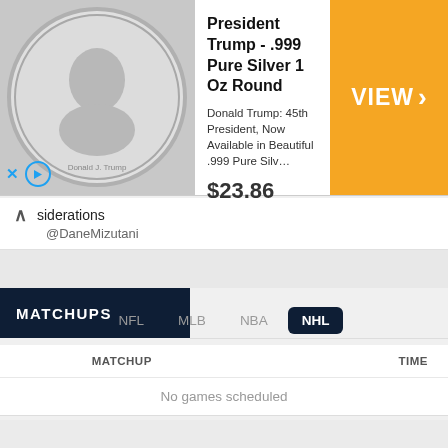[Figure (screenshot): Advertisement banner for President Trump .999 Pure Silver 1 Oz Round coin from Money Metals Exchange, priced at $23.86, with orange VIEW button and coin image on left.]
siderations
@DaneMizutani
MATCHUPS
NFL   MLB   NBA   NHL
| MATCHUP | TIME |
| --- | --- |
| No games scheduled |  |